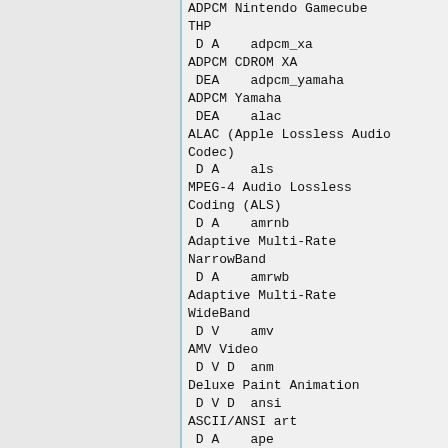ADPCM Nintendo Gamecube THP
 D A    adpcm_xa
ADPCM CDROM XA
 DEA    adpcm_yamaha
ADPCM Yamaha
 DEA    alac
ALAC (Apple Lossless Audio Codec)
 D A    als
MPEG-4 Audio Lossless Coding (ALS)
 D A    amrnb
Adaptive Multi-Rate NarrowBand
 D A    amrwb
Adaptive Multi-Rate WideBand
 D V    amv
AMV Video
 D V D  anm
Deluxe Paint Animation
 D V D  ansi
ASCII/ANSI art
 D A    ape